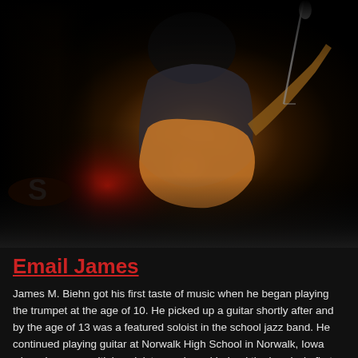[Figure (photo): A guitarist performing on stage in low-light concert setting, leaning over an electric guitar near a microphone. Dark background with warm amber/orange stage lighting illuminating the guitar. Drum kit visible in background left with red glow.]
Email James
James M. Biehn got his first taste of music when he began playing the trumpet at the age of 10. He picked up a guitar shortly after and by the age of 13 was a featured soloist in the school jazz band. He continued playing guitar at Norwalk High School in Norwalk, Iowa where he won multiple soloist awards and helped the band win first place in the state competition two years in a row. Continuing his musical